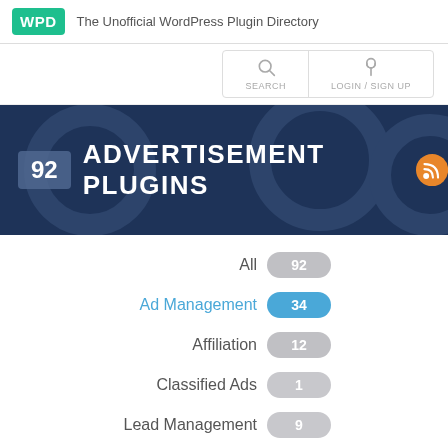WPD — The Unofficial WordPress Plugin Directory
[Figure (screenshot): Navigation icons: SEARCH and LOGIN / SIGN UP]
92 ADVERTISEMENT PLUGINS
All 92
Ad Management 34
Affiliation 12
Classified Ads 1
Lead Management 9